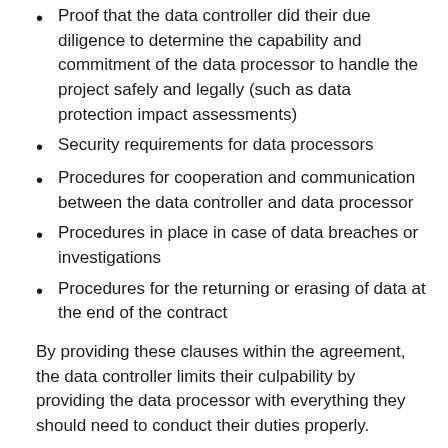Proof that the data controller did their due diligence to determine the capability and commitment of the data processor to handle the project safely and legally (such as data protection impact assessments)
Security requirements for data processors
Procedures for cooperation and communication between the data controller and data processor
Procedures in place in case of data breaches or investigations
Procedures for the returning or erasing of data at the end of the contract
By providing these clauses within the agreement, the data controller limits their culpability by providing the data processor with everything they should need to conduct their duties properly.